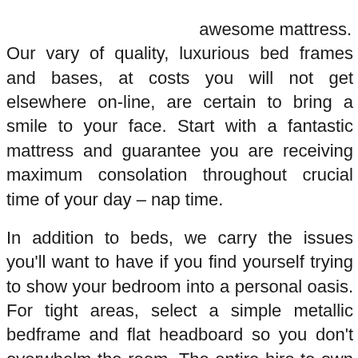awesome mattress. Our vary of quality, luxurious bed frames and bases, at costs you will not get elsewhere on-line, are certain to bring a smile to your face. Start with a fantastic mattress and guarantee you are receiving maximum consolation throughout crucial time of your day – nap time.

In addition to beds, we carry the issues you'll want to have if you find yourself trying to show your bedroom into a personal oasis. For tight areas, select a simple metallic bedframe and flat headboard so you don't overwhelm the room. The entire hire-to-own furniture at Rent-A-Center, together with our hire-to-personal beds, is made by Ashley Furnishings which is known for prime